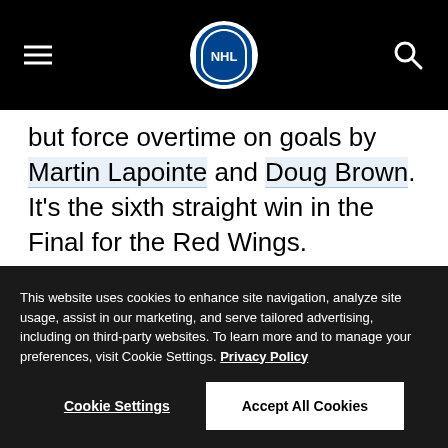NHL navigation header with hamburger menu, NHL logo, and search icon
but force overtime on goals by Martin Lapointe and Doug Brown. It's the sixth straight win in the Final for the Red Wings.
2014: Henrik Lundqvist makes 40 saves to help the New York Rangers avoid being swept in the Final with a 2-1
This website uses cookies to enhance site navigation, analyze site usage, assist in our marketing, and serve tailored advertising, including on third-party websites. To learn more and to manage your preferences, visit Cookie Settings. Privacy Policy
Cookie Settings | Accept All Cookies